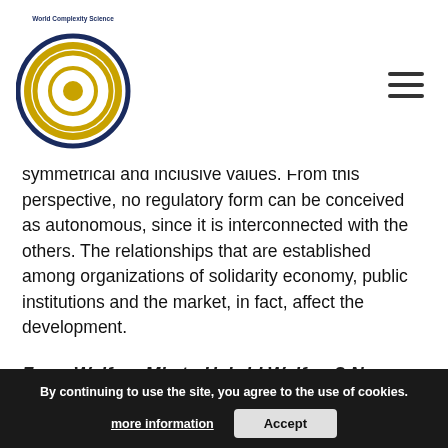[Figure (logo): World Complexity Science Academy circular logo with concentric spiral in gold and dark blue, text around the circle border]
symmetrical and inclusive values. From this perspective, no regulatory form can be conceived as autonomous, since it is interconnected with the others. The relationships that are established among organizations of solidarity economy, public institutions and the market, in fact, affect the development.
IX.5) LUCIA MONTESANTI and FRANCESCA VELTRI, University of C...
From Welfare Mix to Hybrid Welfare? New